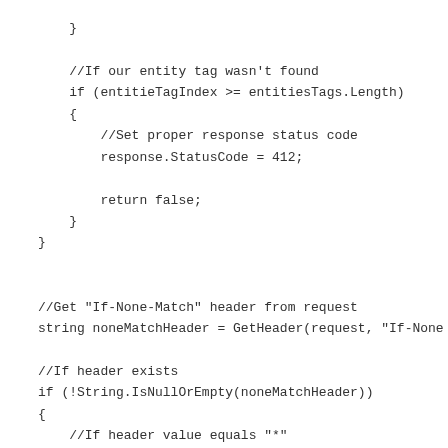}

    //If our entity tag wasn't found
    if (entitieTagIndex >= entitiesTags.Length)
    {
        //Set proper response status code
        response.StatusCode = 412;

        return false;
    }
}


//Get "If-None-Match" header from request
string noneMatchHeader = GetHeader(request, "If-None


//If header exists
if (!String.IsNullOrEmpty(noneMatchHeader))
{
    //If header value equals "*"
    if (noneMatchHeader == "*")